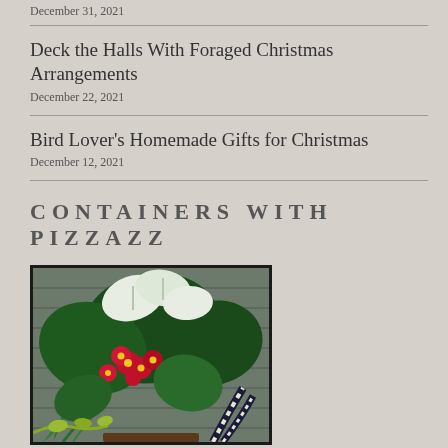December 31, 2021
Deck the Halls With Foraged Christmas Arrangements
December 22, 2021
Bird Lover's Homemade Gifts for Christmas
December 12, 2021
CONTAINERS WITH PIZZAZZ
[Figure (photo): A lush container garden arrangement featuring large white caladium leaves, red begonias, large green tropical leaves, ferns, and variegated foliage against a gray house siding background.]